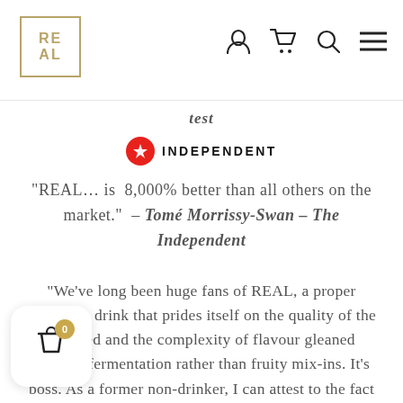REAL [logo] — navigation icons (user, cart, search, menu)
test
[Figure (logo): The Independent newspaper logo: red circle with white dove icon, and INDEPENDENT text in uppercase]
"REAL... is 8,000% better than all others on the market." – Tomé Morrissy-Swan – The Independent
"We've long been huge fans of REAL, a proper grown-up drink that prides itself on the quality of the tea used and the complexity of flavour gleaned through fermentation rather than fruity mix-ins. It's boss. As a former non-drinker, I can attest to the fact that their new cork-and-cage-bottle ticks all the boxes! Delightful" – Joey O'Hare, Head of